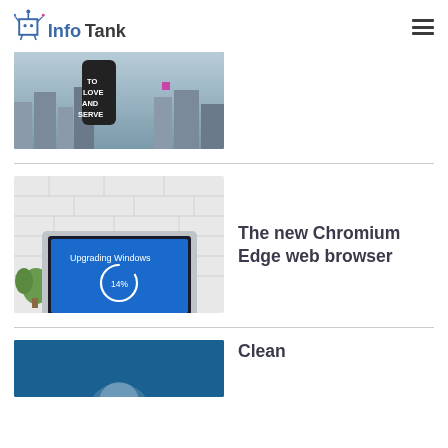InfoTank
[Figure (photo): Person wearing a black shirt with text 'TO LOVE AND SERVE' in front of a city skyline]
[Figure (photo): Laptop showing a Windows upgrade screen at 14% progress, placed on a white brick surface with a plant]
The new Chromium Edge web browser
[Figure (photo): Partial view of a blue-background image, beginning of another article]
Clean